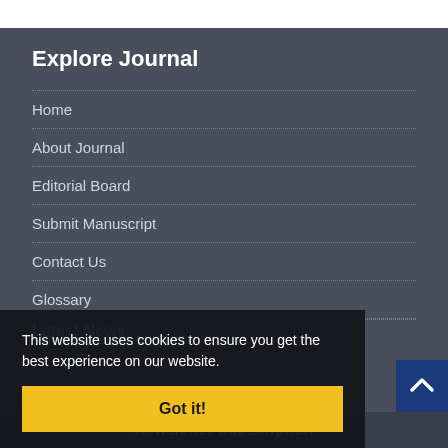Explore Journal
Home
About Journal
Editorial Board
Submit Manuscript
Contact Us
Glossary
This website uses cookies to ensure you get the best experience on our website.
Got it!
Latest News
Newsletter Subscription